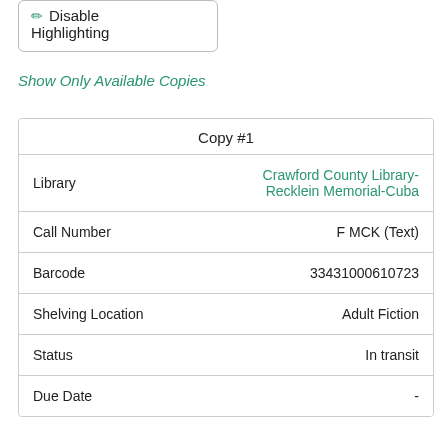✏ Disable Highlighting
Show Only Available Copies
|  | Copy #1 |
| --- | --- |
| Library | Crawford County Library-Recklein Memorial-Cuba |
| Call Number | F MCK (Text) |
| Barcode | 33431000610723 |
| Shelving Location | Adult Fiction |
| Status | In transit |
| Due Date | - |